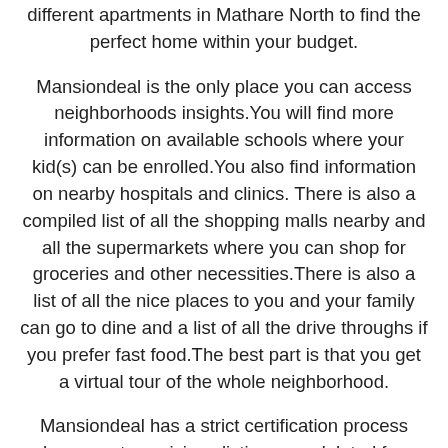different apartments in Mathare North to find the perfect home within your budget.
Mansiondeal is the only place you can access neighborhoods insights.You will find more information on available schools where your kid(s) can be enrolled.You also find information on nearby hospitals and clinics. There is also a compiled list of all the shopping malls nearby and all the supermarkets where you can shop for groceries and other necessities.There is also a list of all the nice places to you and your family can go to dine and a list of all the drive throughs if you prefer fast food.The best part is that you get a virtual tour of the whole neighborhood.
Mansiondeal has a strict certification process where most suspicious listings are deleted from the site. This means most of the apartments you see on mansiondeal